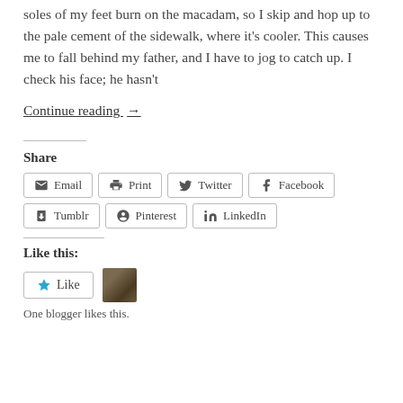soles of my feet burn on the macadam, so I skip and hop up to the pale cement of the sidewalk, where it's cooler. This causes me to fall behind my father, and I have to jog to catch up. I check his face; he hasn't
Continue reading →
Share
Email
Print
Twitter
Facebook
Tumblr
Pinterest
LinkedIn
Like this:
One blogger likes this.